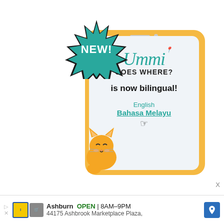[Figure (illustration): Promotional illustration showing a tablet device with 'Ummi Goes Where?' branding announcing bilingual support in English and Bahasa Melayu, with a 'NEW!' starburst badge and a cartoon cat peeking from the side.]
is now bilingual!
English
Bahasa Melayu
Ashburn OPEN 8AM–9PM 44175 Ashbrook Marketplace Plaza,